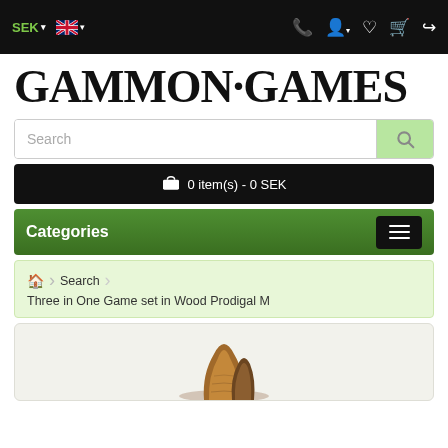SEK [dropdown] [UK flag dropdown] [phone] [account] [wishlist] [cart] [share]
GAMMON·GAMES
Search
🛒 0 item(s) - 0 SEK
Categories
🏠 Search > Three in One Game set in Wood Prodigal M
[Figure (photo): Partial product photo of a wooden game set, showing brown wooden pieces, bottom portion visible]